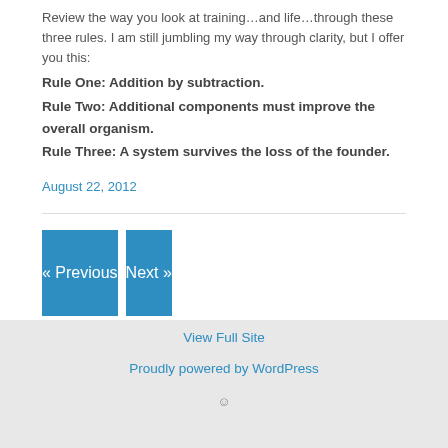Review the way you look at training…and life…through these three rules. I am still jumbling my way through clarity, but I offer you this: Rule One: Addition by subtraction. Rule Two: Additional components must improve the overall organism. Rule Three: A system survives the loss of the founder.
August 22, 2012
« Previous
Next »
View Full Site
Proudly powered by WordPress